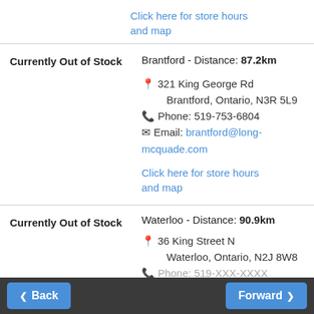Click here for store hours and map
Currently Out of Stock
Brantford - Distance: 87.2km
📍 321 King George Rd
   Brantford, Ontario, N3R 5L9
📞 Phone: 519-753-6804
✉ Email: brantford@long-mcquade.com
Click here for store hours and map
Currently Out of Stock
Waterloo - Distance: 90.9km
📍 36 King Street N
   Waterloo, Ontario, N2J 8W8
📞 Phone: 519-XXX-XXXX
Back | Forward